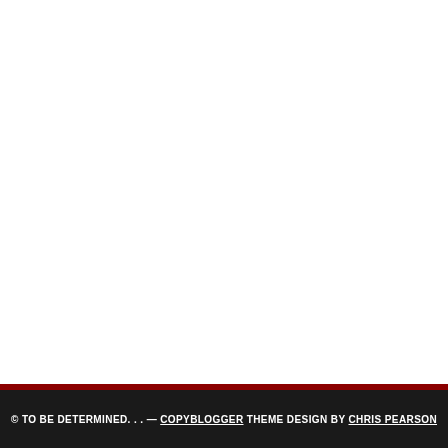© TO BE DETERMINED. . . — COPYBLOGGER THEME DESIGN BY CHRIS PEARSON